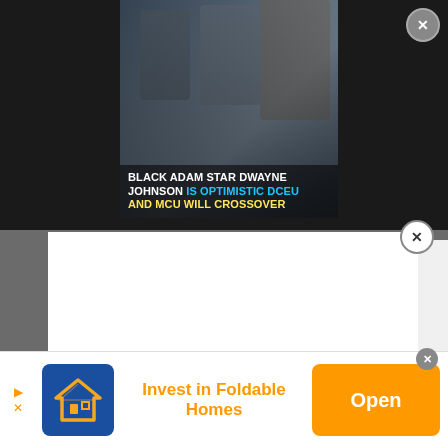[Figure (screenshot): Screenshot of a webpage with a Black Adam article thumbnail showing actors, overlaid modal ad popup, and bottom banner ad for Foldable Homes]
BLACK ADAM STAR DWAYNE JOHNSON IS OPTIMISTIC DCEU AND MCU WILL CROSSOVER
[Figure (advertisement): Bottom banner advertisement: house logo icon, text 'Invest in Foldable Homes', orange 'Open' button]
Invest in Foldable Homes